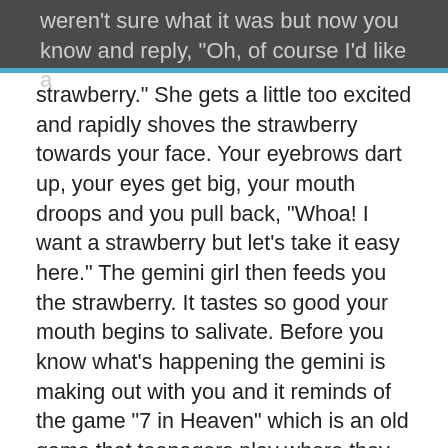weren't sure what it was but now you know and reply, "Oh, of course I'd like a
strawberry." She gets a little too excited and rapidly shoves the strawberry towards your face. Your eyebrows dart up, your eyes get big, your mouth droops and you pull back, “Whoa! I want a strawberry but let’s take it easy here.” The gemini girl then feeds you the strawberry. It tastes so good your mouth begins to salivate. Before you know what’s happening the gemini is making out with you and it reminds of the game “7 in Heaven” which is an old game that teenagers play where they spin a bottle and get locked up with someone in a closet for 7 minutes and their supposed to make out. You think back to how this day started with Poseidon and his frightening trident and geysers of water; it was a nightmare. Somehow it has turned into this awesome experience with Jonny Depp and attractive women making out